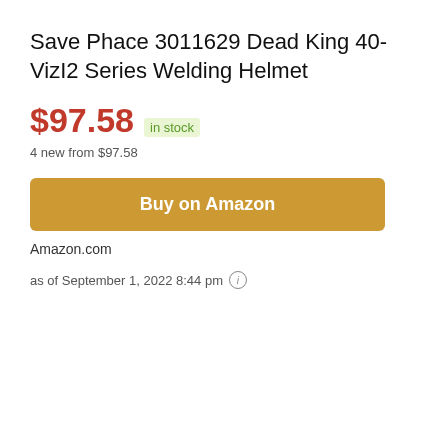Save Phace 3011629 Dead King 40-VizI2 Series Welding Helmet
$97.58 in stock
4 new from $97.58
Buy on Amazon
Amazon.com
as of September 1, 2022 8:44 pm